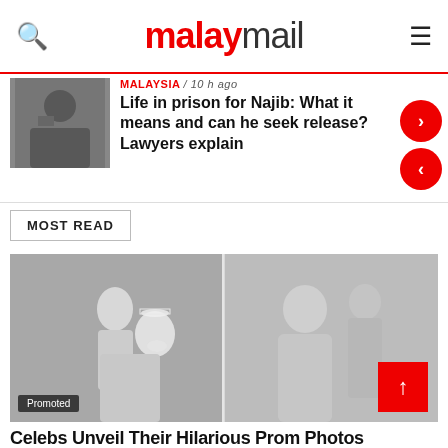malaymail
MALAYSIA / 10 h ago
Life in prison for Najib: What it means and can he seek release? Lawyers explain
MOST READ
[Figure (photo): Black and white prom photos: left shows a couple in formal attire with woman wearing tiara; right shows a couple in formal dress against a curtain backdrop]
Promoted
Celebs Unveil Their Hilarious Prom Photos